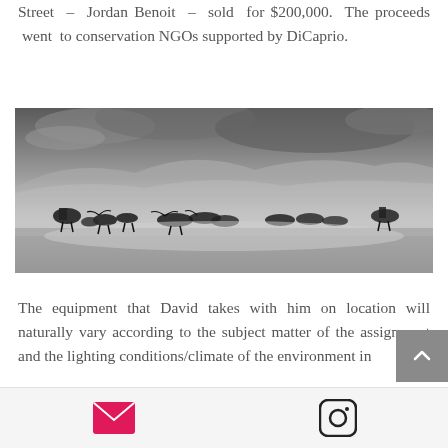Street – Jordan Benoit – sold for $200,000. The proceeds went to conservation NGOs supported by DiCaprio.
[Figure (photo): Black and white photograph of cowboys on horseback herding longhorn cattle across a dusty plain with mountains and dramatic cloudy sky in the background.]
The equipment that David takes with him on location will naturally vary according to the subject matter of the assignment and the lighting conditions/climate of the environment in